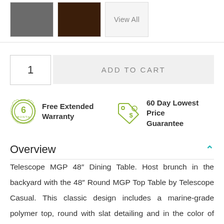[Figure (photo): Three color swatches: gray, dark brown, and a 'View All' placeholder box]
1
ADD TO CART
[Figure (illustration): 6 Month Free Extended Warranty badge icon (green circular badge)]
Free Extended Warranty
[Figure (illustration): Price tag icon with dollar sign (green outline)]
60 Day Lowest Price Guarantee
Overview
Telescope MGP 48" Dining Table. Host brunch in the backyard with the 48" Round MGP Top Table by Telescope Casual. This classic design includes a marine-grade polymer top, round with slat detailing and in the color of your choice, which goes